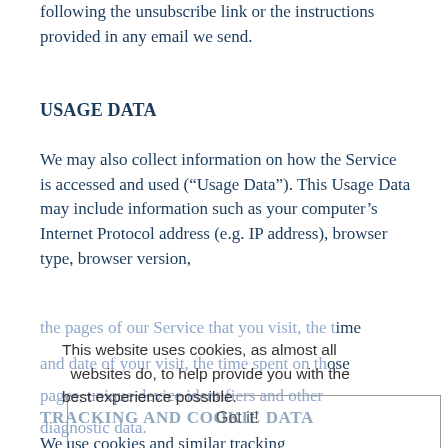following the unsubscribe link or the instructions provided in any email we send.
USAGE DATA
We may also collect information on how the Service is accessed and used (“Usage Data”). This Usage Data may include information such as your computer’s Internet Protocol address (e.g. IP address), browser type, browser version, the pages of our Service that you visit, the time and date of your visit, the time spent on those pages, unique device identifiers and other diagnostic data.
This website uses cookies, as almost all websites do, to help provide you with the best experience possible.
TRACKING AND COOKIE DATA
We use cookies and similar tracking